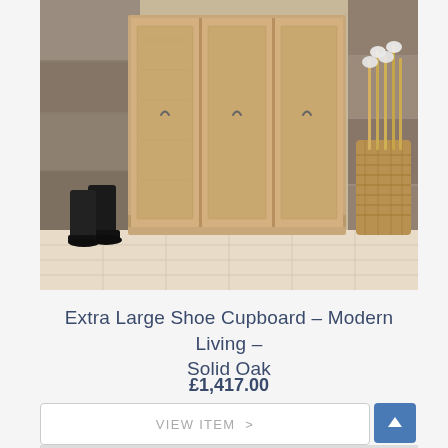[Figure (photo): Large oak shoe cupboard with three doors featuring simple curved handles, displayed in a hallway with black rubber boots on the left and a wicker basket with umbrellas on the right, set on cream tile flooring with a stone wall background.]
Extra Large Shoe Cupboard – Modern Living – Solid Oak
£1,417.00
VIEW ITEM >